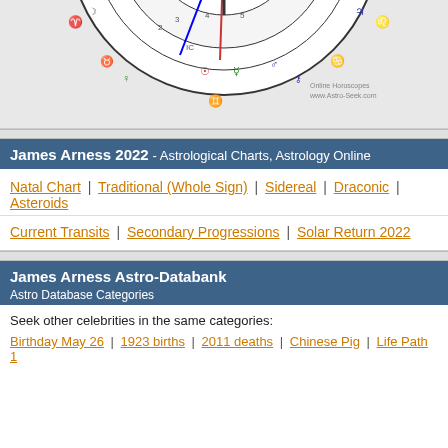[Figure (illustration): Partial astrology natal chart wheel showing zodiac symbols, planetary glyphs (Sun, Mercury, Mars, Venus, Jupiter, Moon), house numbers (IC, 2, 3, 4, 5), and colored lines/arrows. Watermark reads: Online Horoscopes www.Astro-Seek.com]
Print chart
James Arness 2022 - Astrological Charts, Astrology Online
Natal Chart | Traditional (Whole Sign) | Sidereal | Draconic | Asteroids
Current Transits | Secondary Progressions | Solar Return 2022
James Arness Astro-Databank
Astro Database Categories
Seek other celebrities in the same categories:
Birthday May 26 | 1923 births | 2011 deaths | Chinese Pig | Life Path 1